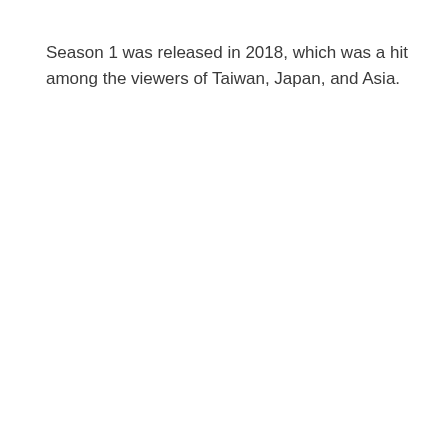Season 1 was released in 2018, which was a hit among the viewers of Taiwan, Japan, and Asia.